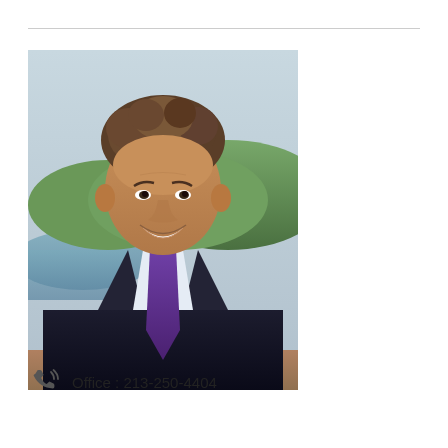[Figure (photo): Professional headshot of a middle-aged man with curly brown hair, smiling, wearing a dark suit jacket, white dress shirt, and purple tie. Outdoor background with trees, a hill, and water/lake visible.]
Office : 213-250-4404